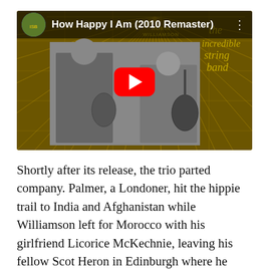[Figure (screenshot): YouTube video thumbnail showing 'How Happy I Am (2010 Remaster)' with a red play button overlay. The thumbnail shows two musicians (Robin Williamson and Mike Heron of The Incredible String Band) on a golden/dark album cover background with geometric grid lines. A small circular album art thumbnail appears in the top-left of the video header bar.]
Shortly after its release, the trio parted company. Palmer, a Londoner, hit the hippie trail to India and Afghanistan while Williamson left for Morocco with his girlfriend Licorice McKechnie, leaving his fellow Scot Heron in Edinburgh where he teamed up with a group named Rock Bottom and the Deadbeats. Having run out of dosh, Robin came back laden with